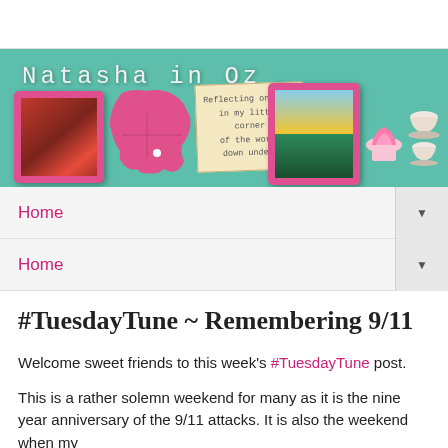[Figure (illustration): Blog header banner for 'Natasha in Oz' with teal/mint green background, the blog title in white monospace font, a pink-framed photo of red flowers on the left, a pink silhouette of Australia map in the center, a notecard reading 'Reflecting on life in my little corner of the world down under!', a pink-framed tropical beach photo, and stacked teacups with a pink cupcake on the right.]
Home ▼
Home ▼
#TuesdayTune ~ Remembering 9/11
Welcome sweet friends to this week's #TuesdayTune post.
This is a rather solemn weekend for many as it is the nine year anniversary of the 9/11 attacks. It is also the weekend when my husband and I will be away during that trip home that we do at 15...